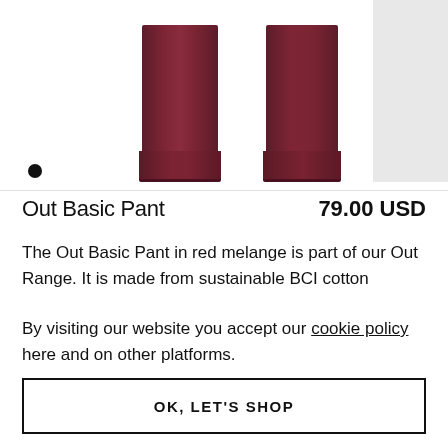[Figure (photo): Two maroon/burgundy pant legs shown from below the knee, with ribbed cuffs at the bottom. A gray rectangle is partially visible in the top-right corner. A black dot indicator appears below.]
Out Basic Pant     79.00 USD
The Out Basic Pant in red melange is part of our Out Range. It is made from sustainable BCI cotton
By visiting our website you accept our cookie policy here and on other platforms.
OK, LET'S SHOP